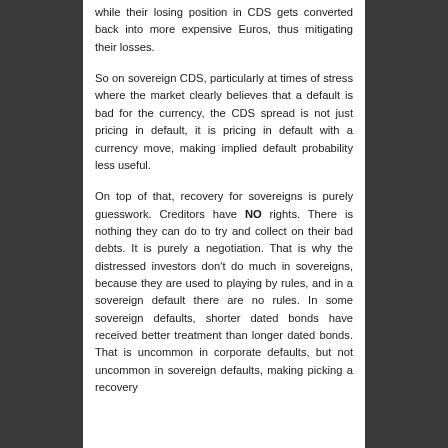while their losing position in CDS gets converted back into more expensive Euros, thus mitigating their losses.
So on sovereign CDS, particularly at times of stress where the market clearly believes that a default is bad for the currency, the CDS spread is not just pricing in default, it is pricing in default with a currency move, making implied default probability less useful.
On top of that, recovery for sovereigns is purely guesswork. Creditors have NO rights. There is nothing they can do to try and collect on their bad debts. It is purely a negotiation. That is why the distressed investors don't do much in sovereigns, because they are used to playing by rules, and in a sovereign default there are no rules. In some sovereign defaults, shorter dated bonds have received better treatment than longer dated bonds. That is uncommon in corporate defaults, but not uncommon in sovereign defaults, making picking a recovery